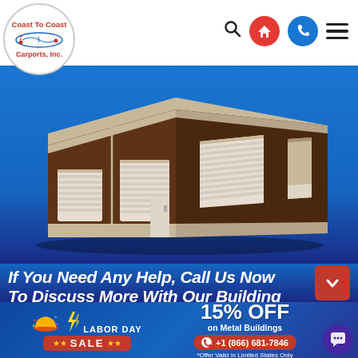Coast To Coast Carports, Inc.
[Figure (illustration): 3D rendering of a brown metal building/garage with multiple roll-up doors and a walk-in door, on a blue background]
If You Need Any Help, Call Us Now To Discuss More With Our Building
[Figure (infographic): Labor Day Sale banner with hard hat icon — 15% OFF on Metal Buildings, phone number +1 (866) 681-7846, offer valid in limited states only]